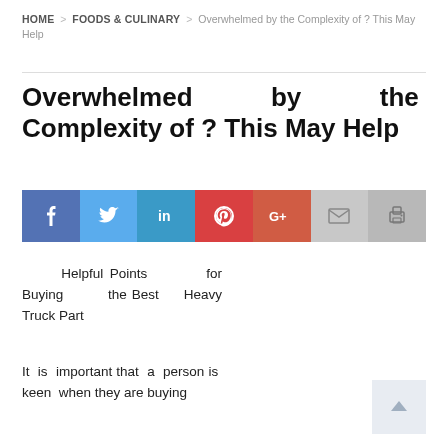HOME > FOODS & CULINARY > Overwhelmed by the Complexity of ? This May Help
Overwhelmed by the Complexity of ? This May Help
[Figure (infographic): Social sharing bar with icons for Facebook, Twitter, LinkedIn, Pinterest, Google+, Email, and Print]
Helpful Points for Buying the Best Heavy Truck Part
It is important that a person is keen when they are buying